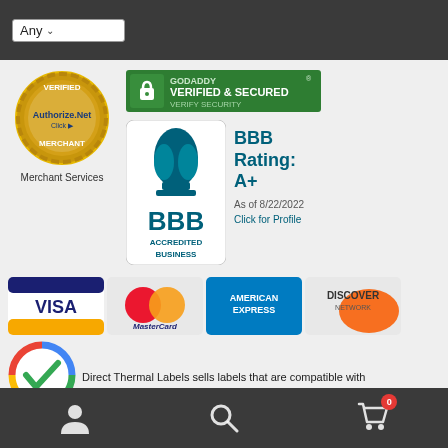[Figure (screenshot): Top navigation bar with dark background and 'Any' dropdown selector]
[Figure (logo): Authorize.Net Verified Merchant Services badge with gold seal]
[Figure (logo): GoDaddy Verified & Secured badge]
[Figure (logo): BBB Accredited Business logo with flame icon]
BBB Rating: A+
As of 8/22/2022
Click for Profile
[Figure (logo): VISA credit card logo]
[Figure (logo): MasterCard credit card logo]
[Figure (logo): American Express credit card logo]
[Figure (logo): Discover Network credit card logo]
[Figure (logo): Google colorful circle checkmark icon]
Direct Thermal Labels sells labels that are compatible with
[Figure (screenshot): Bottom navigation bar with person, search, and shopping cart icons]